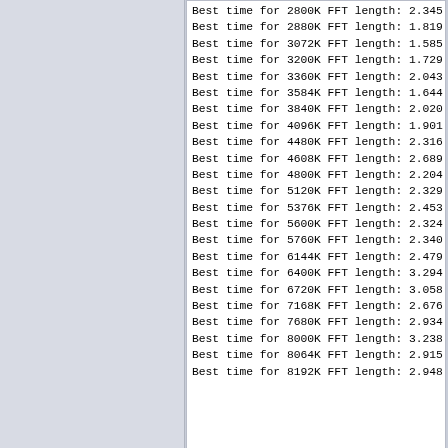Best time for 2800K FFT length: 2.345 ms
Best time for 2880K FFT length: 1.819 ms
Best time for 3072K FFT length: 1.585 ms
Best time for 3200K FFT length: 1.729 ms
Best time for 3360K FFT length: 2.043 ms
Best time for 3584K FFT length: 1.644 ms
Best time for 3840K FFT length: 2.020 ms
Best time for 4096K FFT length: 1.901 ms
Best time for 4480K FFT length: 2.316 ms
Best time for 4608K FFT length: 2.689 ms
Best time for 4800K FFT length: 2.204 ms
Best time for 5120K FFT length: 2.329 ms
Best time for 5376K FFT length: 2.453 ms
Best time for 5600K FFT length: 2.324 ms
Best time for 5760K FFT length: 2.340 ms
Best time for 6144K FFT length: 2.479 ms
Best time for 6400K FFT length: 3.294 ms
Best time for 6720K FFT length: 3.058 ms
Best time for 7168K FFT length: 2.676 ms
Best time for 7680K FFT length: 2.934 ms
Best time for 8000K FFT length: 3.238 ms
Best time for 8064K FFT length: 2.915 ms
Best time for 8192K FFT length: 2.948 ms
Code:
Prime95 64 bit version 30.7, RdtscTiming...